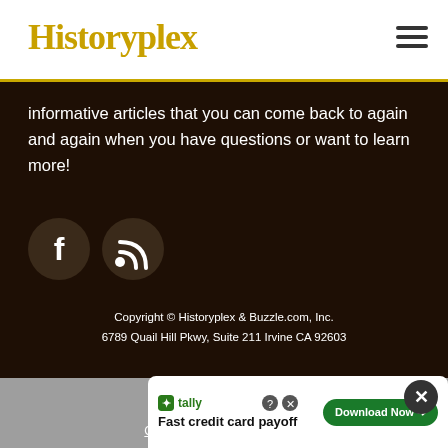Historyplex
informative articles that you can come back to again and again when you have questions or want to learn more!
[Figure (illustration): Facebook icon circle button (dark brown circle with white F)]
[Figure (illustration): RSS feed icon circle button (dark brown circle with white RSS symbol)]
Copyright © Historyplex & Buzzle.com, Inc.
6789 Quail Hill Pkwy, Suite 211 Irvine CA 92603
Privacy Policy
Terms of Use
Contact Us
[Figure (infographic): Tally advertisement banner: Fast credit card payoff, Download Now button]